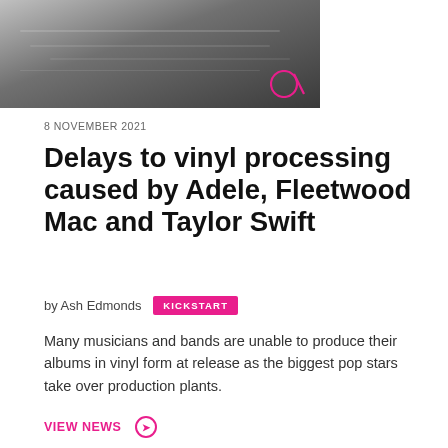[Figure (photo): Black and white close-up photo of vinyl record player/turntable with a pink logo watermark in the bottom right corner]
8 NOVEMBER 2021
Delays to vinyl processing caused by Adele, Fleetwood Mac and Taylor Swift
by Ash Edmonds  KICKSTART
Many musicians and bands are unable to produce their albums in vinyl form at release as the biggest pop stars take over production plants.
VIEW NEWS ➔
[Figure (photo): Photo with NEWS badge overlay, showing colorful hands/figures in low light, partial view at bottom of page]